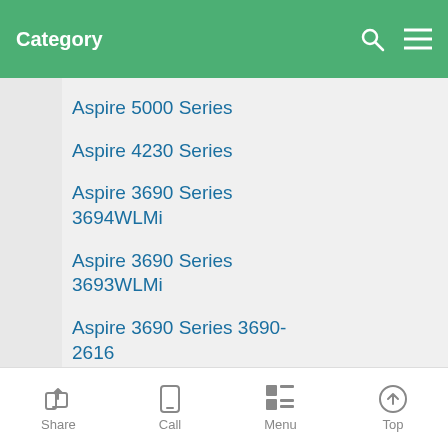Category
Aspire 5020 Series
Aspire 5010 Series
Aspire 5000 Series
Aspire 4230 Series
Aspire 3690 Series 3694WLMi
Aspire 3690 Series 3693WLMi
Aspire 3690 Series 3690-2616
Aspire 3690 Series 3690-2612
Aspire 3690 Series 3690-
Share  Call  Menu  Top